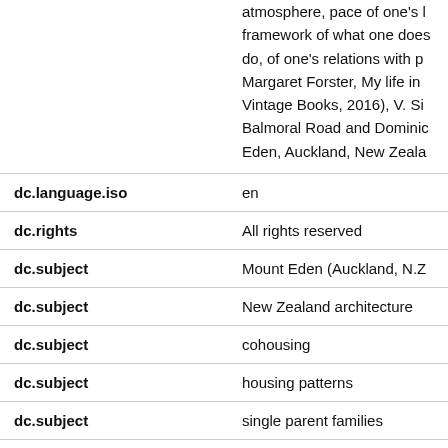| Field | Value |
| --- | --- |
|  | atmosphere, pace of one's l framework of what one does do, of one's relations with pe Margaret Forster, My life in Vintage Books, 2016), V. Si Balmoral Road and Dominic Eden, Auckland, New Zeala |
| dc.language.iso | en |
| dc.rights | All rights reserved |
| dc.subject | Mount Eden (Auckland, N.Z |
| dc.subject | New Zealand architecture |
| dc.subject | cohousing |
| dc.subject | housing patterns |
| dc.subject | single parent families |
| dc.subject | cooperative living |